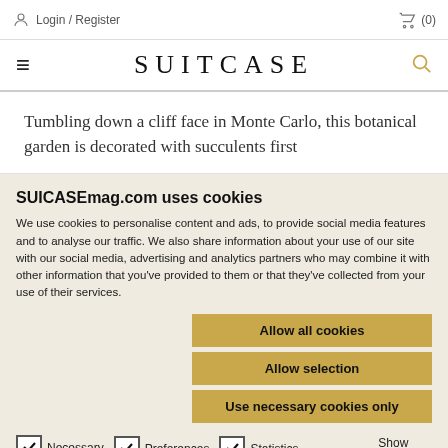Login / Register  (0)
SUITCASE
Tumbling down a cliff face in Monte Carlo, this botanical garden is decorated with succulents first
SUICASEmag.com uses cookies
We use cookies to personalise content and ads, to provide social media features and to analyse our traffic. We also share information about your use of our site with our social media, advertising and analytics partners who may combine it with other information that you've provided to them or that they've collected from your use of their services.
Allow all cookies
Allow selection
Use necessary cookies only
Necessary
Preferences
Statistics
Marketing
Show details